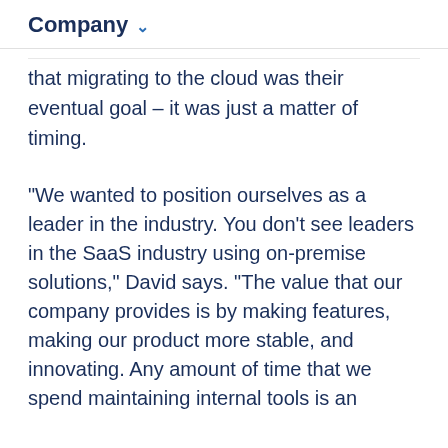Company
that migrating to the cloud was their eventual goal – it was just a matter of timing.
“We wanted to position ourselves as a leader in the industry. You don’t see leaders in the SaaS industry using on-premise solutions,” David says. “The value that our company provides is by making features, making our product more stable, and innovating. Any amount of time that we spend maintaining internal tools is an